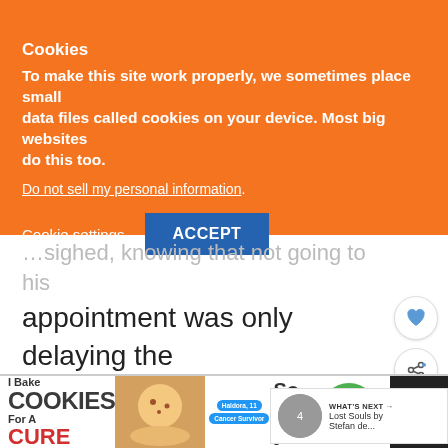Cookies
To make this site work properly, we sometimes place small data files called cookies on your device. Most big websites do this too.
Do not sell my personal information.
Cookie settings   ACCEPT
…sighed, knowing that not going to his appointment was only delaying the inevitable.
“Welcome Xoey Appleton-Nandini-G… 12,” an automated voice said when she entered the store, reading her biometric dat…
[Figure (infographic): What's Next panel showing Lost Souls by Stefan de... with circular book cover image]
[Figure (infographic): Advertisement banner: I Bake Cookies For A Cure - Haldora, 11 Cancer Survivor - So can you! - cookies for kids cancer]